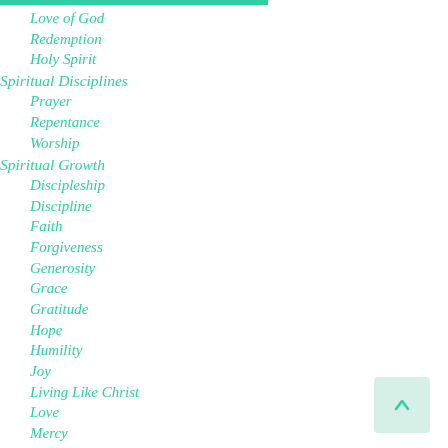Love of God
Redemption
Holy Spirit
Spiritual Disciplines
Prayer
Repentance
Worship
Spiritual Growth
Discipleship
Discipline
Faith
Forgiveness
Generosity
Grace
Gratitude
Hope
Humility
Joy
Living Like Christ
Love
Mercy
Patience